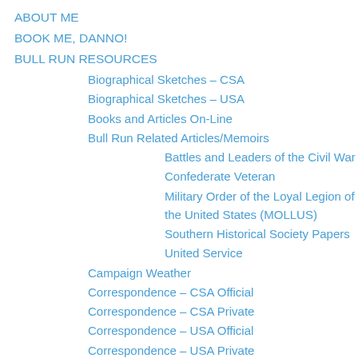ABOUT ME
BOOK ME, DANNO!
BULL RUN RESOURCES
Biographical Sketches – CSA
Biographical Sketches – USA
Books and Articles On-Line
Bull Run Related Articles/Memoirs
Battles and Leaders of the Civil War
Confederate Veteran
Military Order of the Loyal Legion of the United States (MOLLUS)
Southern Historical Society Papers
United Service
Campaign Weather
Correspondence – CSA Official
Correspondence – CSA Private
Correspondence – USA Official
Correspondence – USA Private
Diaries – CSA
Diaries – USA
Dixon Miles Court of Inquiry